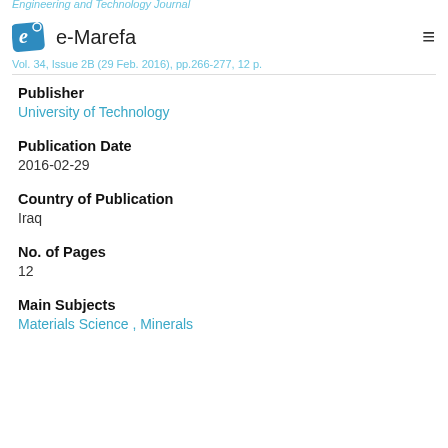Engineering and Technology Journal
e-Marefa
Vol. 34, Issue 2B (29 Feb. 2016), pp.266-277, 12 p.
Publisher
University of Technology
Publication Date
2016-02-29
Country of Publication
Iraq
No. of Pages
12
Main Subjects
Materials Science , Minerals